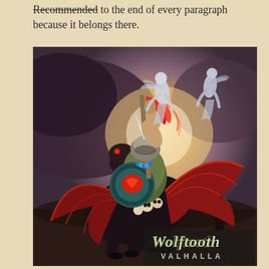Recommended to the end of every paragraph because it belongs there.
[Figure (illustration): Fantasy illustration showing a heavily armored warrior riding a black winged horse (pegasus/nightmare), holding a red banner/flag on a spear. The creature has bat-like red and black wings, skulls adorning it, and the rider carries a round shield with a red emblem. Two ghostly white angelic/valkyrie figures float in the glowing sky above. A dark spire/castle is visible in the background lower right. At the bottom right of the illustration appears the text 'Wolftooth' in a stylized metal font, and below it 'VALHALLA' in spaced capital letters. The overall color palette is dark purples, browns, reds, and a glowing amber/white light in the sky.]